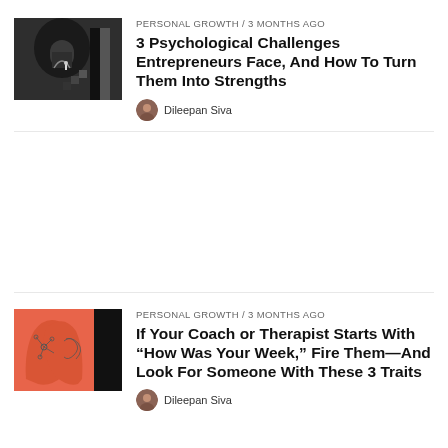[Figure (illustration): Dark gray illustration showing a silhouette of a head with an arched doorway and staircase motif, geometric pixel-style elements on right side]
PERSONAL GROWTH / 3 months ago
3 Psychological Challenges Entrepreneurs Face, And How To Turn Them Into Strengths
Dileepan Siva
[Figure (illustration): Coral/salmon colored illustration showing two face silhouettes back-to-back with brain/mind network lines, black rectangle on right side]
PERSONAL GROWTH / 3 months ago
If Your Coach or Therapist Starts With “How Was Your Week,” Fire Them—And Look For Someone With These 3 Traits
Dileepan Siva